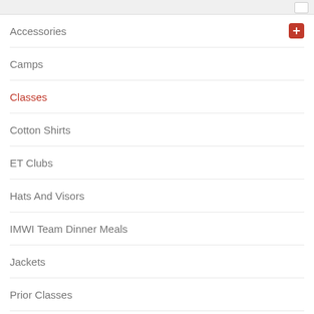Accessories
Camps
Classes
Cotton Shirts
ET Clubs
Hats And Visors
IMWI Team Dinner Meals
Jackets
Prior Classes
Shipping
Special Payments
Sugoi Cycling Wear
Sugoi Triathlon Wear